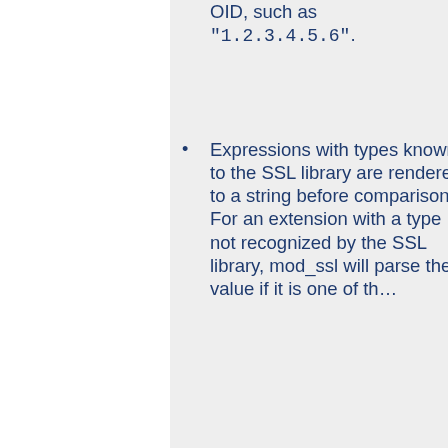OID, such as "1.2.3.4.5.6".
Expressions with types known to the SSL library are rendered to a string before comparison. For an extension with a type not recognized by the SSL library, mod_ssl will parse the value if it is one of th...